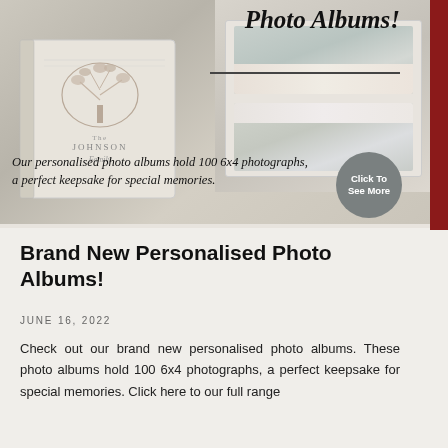[Figure (photo): Promotional banner for personalised photo albums. Shows a cream-colored photo album with tree design and 'The Johnson Family' text on cover, alongside open photo album showing baby photographs. Text overlay reads 'Photo Albums!' with description and a 'Click To See More' circular badge.]
Brand New Personalised Photo Albums!
JUNE 16, 2022
Check out our brand new personalised photo albums. These photo albums hold 100 6x4 photographs, a perfect keepsake for special memories. Click here to our full range